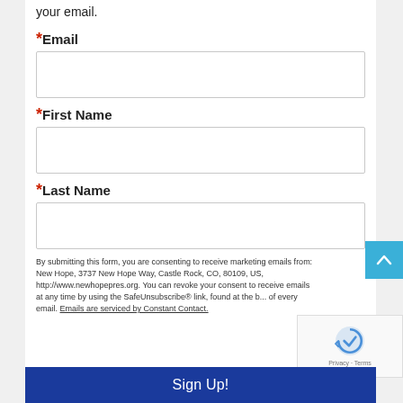your email.
* Email
* First Name
* Last Name
By submitting this form, you are consenting to receive marketing emails from: New Hope, 3737 New Hope Way, Castle Rock, CO, 80109, US, http://www.newhopepres.org. You can revoke your consent to receive emails at any time by using the SafeUnsubscribe® link, found at the bottom of every email. Emails are serviced by Constant Contact.
Sign Up!